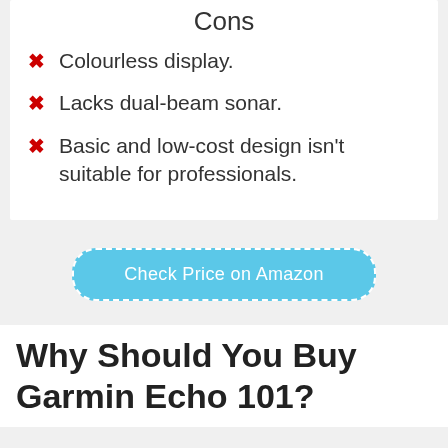Cons
Colourless display.
Lacks dual-beam sonar.
Basic and low-cost design isn't suitable for professionals.
Check Price on Amazon
Why Should You Buy Garmin Echo 101?